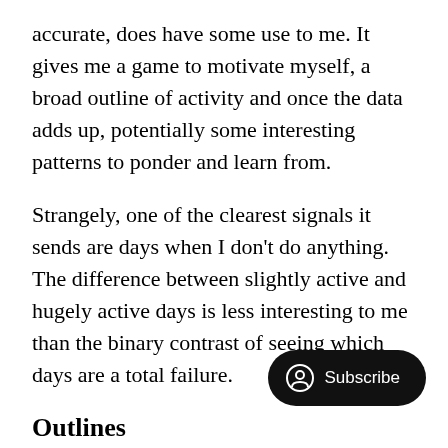accurate, does have some use to me. It gives me a game to motivate myself, a broad outline of activity and once the data adds up, potentially some interesting patterns to ponder and learn from.
Strangely, one of the clearest signals it sends are days when I don't do anything. The difference between slightly active and hugely active days is less interesting to me than the binary contrast of seeing which days are a total failure.
Outlines
So what's the result of this? I'd sa… generates a kind of fuzzy data s… a loose summary of my activity that, while not …